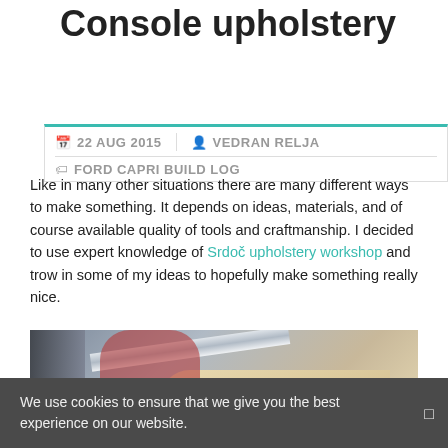Console upholstery
22 AUG 2015  |  VEDRAN RELJA
FORD CAPRI BUILD LOG
Like in many other situations there are many different ways to make something. It depends on ideas, materials, and of course available quality of tools and craftmanship. I decided to use expert knowledge of Srdoč upholstery workshop and trow in some of my ideas to hopefully make something really nice.
[Figure (photo): Photo of a person working on console upholstery with dark blue fabric and a wooden template, scissors visible on the workbench]
We use cookies to ensure that we give you the best experience on our website.